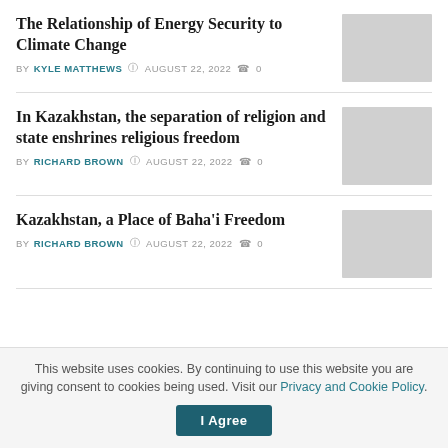The Relationship of Energy Security to Climate Change
BY KYLE MATTHEWS  AUGUST 22, 2022  0
In Kazakhstan, the separation of religion and state enshrines religious freedom
BY RICHARD BROWN  AUGUST 22, 2022  0
Kazakhstan, a Place of Baha'i Freedom
BY RICHARD BROWN  AUGUST 22, 2022  0
This website uses cookies. By continuing to use this website you are giving consent to cookies being used. Visit our Privacy and Cookie Policy.